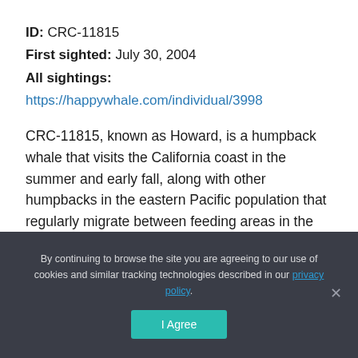ID: CRC-11815
First sighted: July 30, 2004
All sightings:
https://happywhale.com/individual/3998
CRC-11815, known as Howard, is a humpback whale that visits the California coast in the summer and early fall, along with other humpbacks in the eastern Pacific population that regularly migrate between feeding areas in the north and breeding grounds in the south. Howard was first spotted in July 2004 near California's Año Nuevo State Park. Howard has been seen a total of 17 times, ranging from Monterey Bay, California
By continuing to browse the site you are agreeing to our use of cookies and similar tracking technologies described in our privacy policy.
I Agree